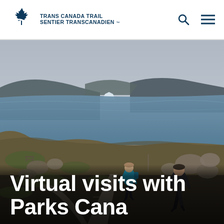Trans Canada Trail / Sentier Transcanadien
[Figure (photo): Two hikers walking along a wooden boardwalk trail through rocky coastal landscape with an iceberg visible in the ocean background and hills in the distance. Overcast sky.]
Virtual visits with Parks Canada